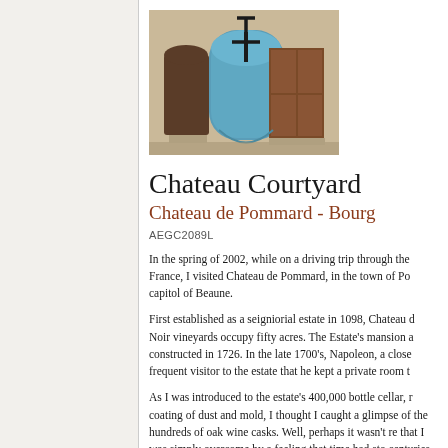[Figure (photo): Photograph of Chateau de Pommard exterior showing stone walls, arched doorway, brown wooden doors, and decorative cross/T symbol painted on wall with blue background]
Chateau Courtyard
Chateau de Pommard - Burg
AEGC2089L
In the spring of 2002, while on a driving trip through the France, I visited Chateau de Pommard, in the town of Po capitol of Beaune.
First established as a seigniorial estate in 1098, Chateau d Noir vineyards occupy fifty acres. The Estate's mansion a constructed in 1726. In the late 1700's, Napoleon, a close frequent visitor to the estate that he kept a private room t
As I was introduced to the estate's 400,000 bottle cellar, r coating of dust and mold, I thought I caught a glimpse of the hundreds of oak wine casks. Well, perhaps it wasn't re that I was simply overcome by a feeling that time had sto centuries.
I sought out a photographic image that I felt would conve rustic, yet somewhat formal appearance of the Chateau